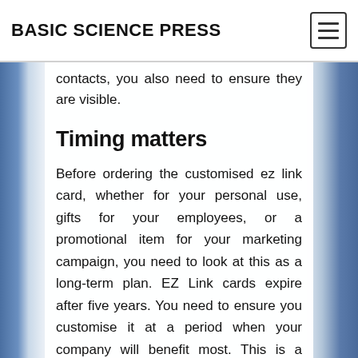BASIC SCIENCE PRESS
contacts, you also need to ensure they are visible.
Timing matters
Before ordering the customised ez link card, whether for your personal use, gifts for your employees, or a promotional item for your marketing campaign, you need to look at this as a long-term plan. EZ Link cards expire after five years. You need to ensure you customise it at a period when your company will benefit most. This is a marketing technique, and you get it right.
For example, you can request an ezlink card design when you are launching a new product. This way, the campaign can actively last for years, depending on